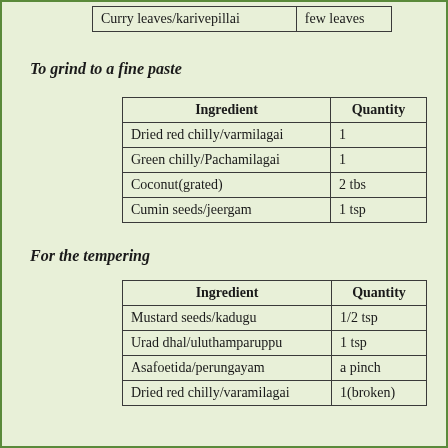| Ingredient | Quantity |
| --- | --- |
| Curry leaves/karivepillai | few leaves |
To grind to a fine paste
| Ingredient | Quantity |
| --- | --- |
| Dried red chilly/varmilagai | 1 |
| Green chilly/Pachamilagai | 1 |
| Coconut(grated) | 2 tbs |
| Cumin seeds/jeergam | 1 tsp |
For the tempering
| Ingredient | Quantity |
| --- | --- |
| Mustard seeds/kadugu | 1/2 tsp |
| Urad dhal/uluthamparuppu | 1 tsp |
| Asafoetida/perungayam | a pinch |
| Dried red chilly/varamilagai | 1(broken) |